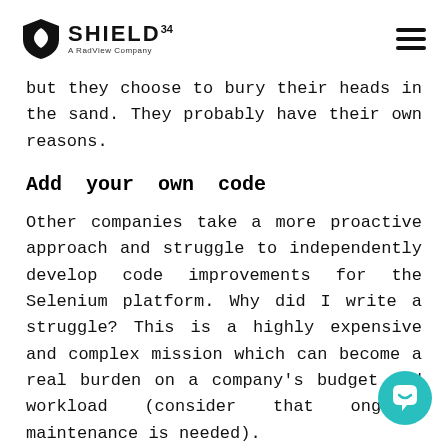SHIELD34 — A RadView Company
but they choose to bury their heads in the sand. They probably have their own reasons.
Add your own code
Other companies take a more proactive approach and struggle to independently develop code improvements for the Selenium platform. Why did I write a struggle? This is a highly expensive and complex mission which can become a real burden on a company's budget and workload (consider that ongoing maintenance is needed).